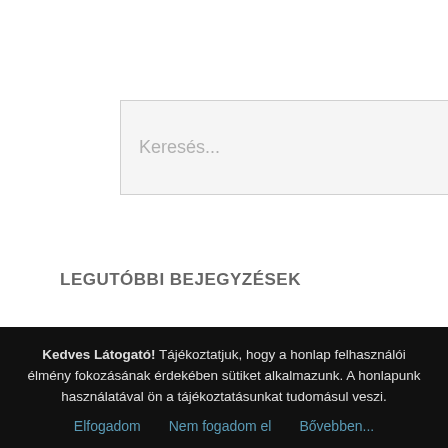[Figure (other): Search input box with placeholder text 'Keresés...']
LEGUTÓBBI BEJEGYZÉSEK
frozen meat suppliers south africa
Mi lesz velünk, ha öregek leszünk?
Megszoktad, megunod? Netán közönyös leszel?
Elrabolta a szívemet a szerelem
Kedves Látogató! Tájékoztatjuk, hogy a honlap felhasználói élmény fokozásának érdekében sütiket alkalmazunk. A honlapunk használatával ön a tájékoztatásunkat tudomásul veszi.
Elfogadom   Nem fogadom el   Bővebben...